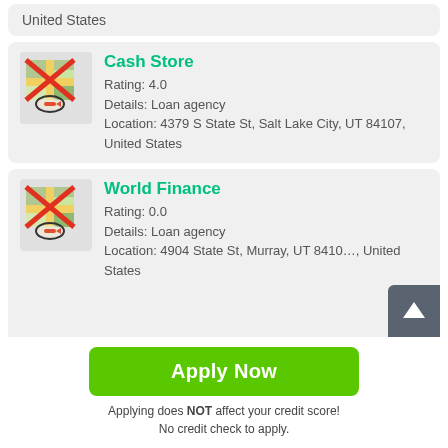United States
[Figure (screenshot): Cash Store listing card with map icon, rating 4.0, loan agency details and address]
Cash Store
Rating: 4.0
Details: Loan agency
Location: 4379 S State St, Salt Lake City, UT 84107, United States
[Figure (screenshot): World Finance listing card with map icon, rating 0.0, loan agency details and address]
World Finance
Rating: 0.0
Details: Loan agency
Location: 4904 State St, Murray, UT 8410_, United States
Apply Now
Applying does NOT affect your credit score!
No credit check to apply.